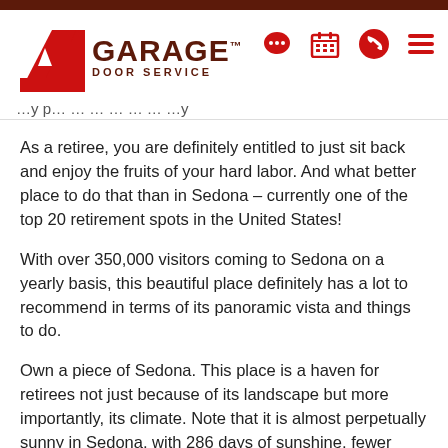[Figure (logo): A1 Garage Door Service logo with red A1 and dark brown text]
As a retiree, you are definitely entitled to just sit back and enjoy the fruits of your hard labor. And what better place to do that than in Sedona – currently one of the top 20 retirement spots in the United States!
With over 350,000 visitors coming to Sedona on a yearly basis, this beautiful place definitely has a lot to recommend in terms of its panoramic vista and things to do.
Own a piece of Sedona. This place is a haven for retirees not just because of its landscape but more importantly, its climate. Note that it is almost perpetually sunny in Sedona, with 286 days of sunshine, fewer than 11 inches of